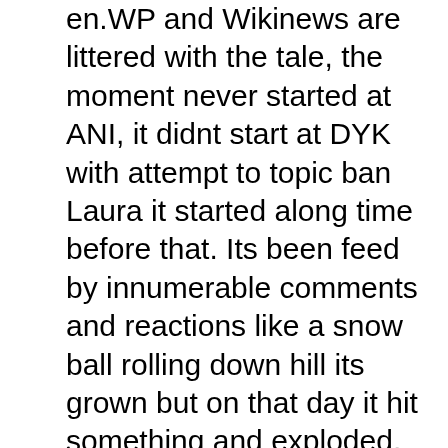en.WP and Wikinews are littered with the tale, the moment never started at ANI, it didnt start at DYK with attempt to topic ban Laura it started along time before that. Its been feed by innumerable comments and reactions like a snow ball rolling down hill its grown but on that day it hit something and exploded. When it comes down to it the membership list needs to private, members need to be able to voice opinion on subjects without fear of them being broadcast publicly, with that goes a level of expectation on how people comment there as well. On that day the trust of the whole community was shaken by making a comment public, it also caused considerable concern about WMAU members on en.WP implying involvement of cabalistic proportions that in my opinion is something the committee should have addressed in